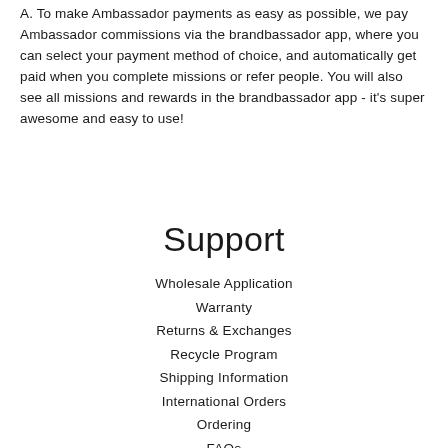A. To make Ambassador payments as easy as possible, we pay Ambassador commissions via the brandbassador app, where you can select your payment method of choice, and automatically get paid when you complete missions or refer people. You will also see all missions and rewards in the brandbassador app - it's super awesome and easy to use!
Support
Wholesale Application
Warranty
Returns & Exchanges
Recycle Program
Shipping Information
International Orders
Ordering
FAQs
Privacy Policy